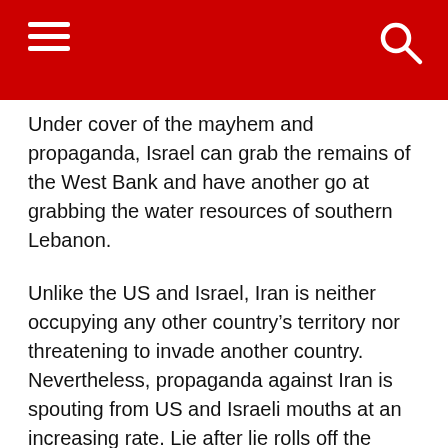Under cover of the mayhem and propaganda, Israel can grab the remains of the West Bank and have another go at grabbing the water resources of southern Lebanon.
Unlike the US and Israel, Iran is neither occupying any other country's territory nor threatening to invade another country. Nevertheless, propaganda against Iran is spouting from US and Israeli mouths at an increasing rate. Lie after lie rolls off the tongues of leaders of the “two great democracies.”